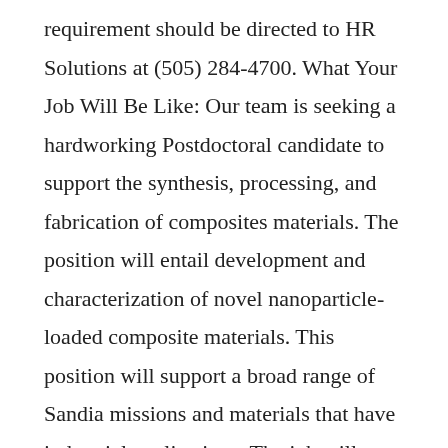requirement should be directed to HR Solutions at (505) 284-4700. What Your Job Will Be Like: Our team is seeking a hardworking Postdoctoral candidate to support the synthesis, processing, and fabrication of composites materials. The position will entail development and characterization of novel nanoparticle-loaded composite materials. This position will support a broad range of Sandia missions and materials that have industrial applications. The job will require a range of functions, including chemistry, material synthesis, processing, fabrications as well as characterization of the subsequent products. All of this work is conducted with a high priority on maintaining a safe and productive research laboratory environment. On any given day, you may be called on to: + Develop